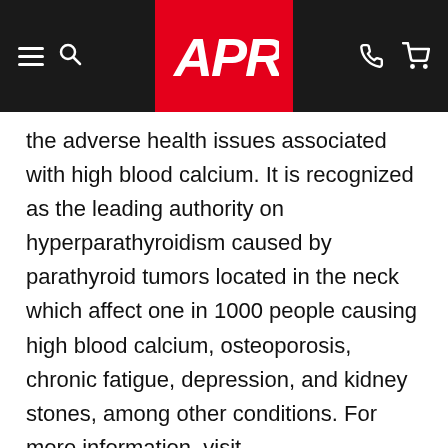APR (logo navigation bar)
the adverse health issues associated with high blood calcium. It is recognized as the leading authority on hyperparathyroidism caused by parathyroid tumors located in the neck which affect one in 1000 people causing high blood calcium, osteoporosis, chronic fatigue, depression, and kidney stones, among other conditions. For more information, visit www.parathyroid.com.
ABOUT PR NEWSWIRE
PR Newswire (www.prnewswire.com) is the premier global provider of multimedia platforms that enable